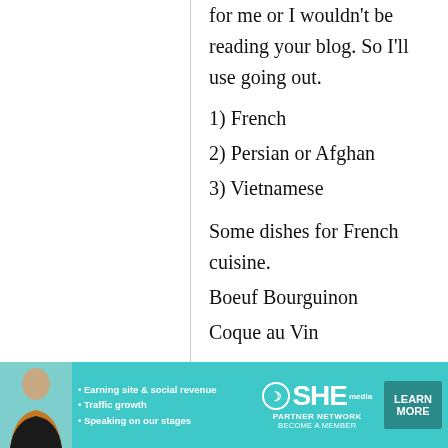for me or I wouldn't be reading your blog. So I'll use going out.
1) French
2) Persian or Afghan
3) Vietnamese
Some dishes for French cuisine.
Boeuf Bourguinon
Coque au Vin
[Figure (infographic): Teal advertisement banner for SHE Partner Network featuring a woman, bullet points about earning site & social revenue, traffic growth, speaking on stages, the SHE logo, and a Learn More button]